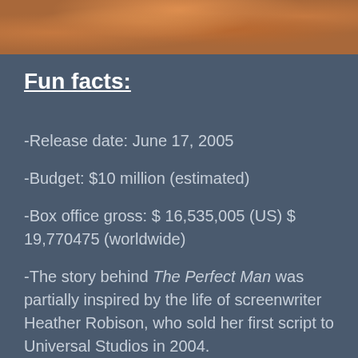[Figure (photo): Close-up photo of baked cookies or similar food items with colorful toppings, cropped at top of page]
Fun facts:
-Release date: June 17, 2005
-Budget: $10 million (estimated)
-Box office gross: $ 16,535,005 (US) $ 19,770475 (worldwide)
-The story behind The Perfect Man was partially inspired by the life of screenwriter Heather Robison, who sold her first script to Universal Studios in 2004.
-Duff received a Golden Raspberry nomination